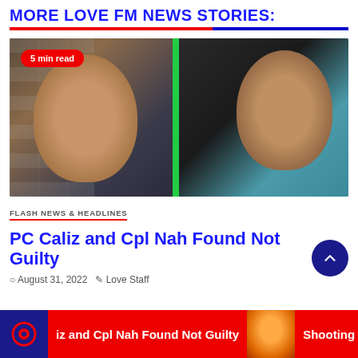MORE LOVE FM NEWS STORIES:
[Figure (photo): Two men in a composite photo — left: a man in a dark shirt with a chain necklace; right: a man wearing sunglasses in a black shirt. Red badge reads '5 min read'.]
FLASH NEWS & HEADLINES
PC Caliz and Cpl Nah Found Not Guilty
August 31, 2022  Love Staff
iz and Cpl Nah Found Not Guilty   Shooting a